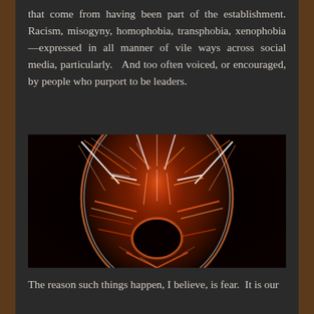that come from having been part of the establishment. Racism, misogyny, homophobia, transphobia, xenophobia—expressed in all manner of vile ways across social media, particularly.  And too often voiced, or encouraged, by people who purport to be leaders.
[Figure (illustration): A fractal/digital art illustration of a screaming face rendered in glowing orange-red and white lines on a black background, depicting intense emotion and rage.]
The reason such things happen, I believe, is fear.  It is our